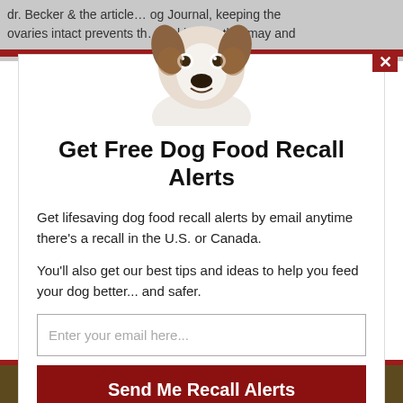dr. Becker & the article... og Journal, keeping the ovaries intact prevents th... nal issues that may and
[Figure (photo): A Jack Russell Terrier puppy peering over a white surface, used as a promotional image for a dog food recall alert signup modal.]
Get Free Dog Food Recall Alerts
Get lifesaving dog food recall alerts by email anytime there's a recall in the U.S. or Canada.
You'll also get our best tips and ideas to help you feed your dog better... and safer.
Enter your email here...
Send Me Recall Alerts
No spam ever. Unsubscribe anytime.
Recall Alerts